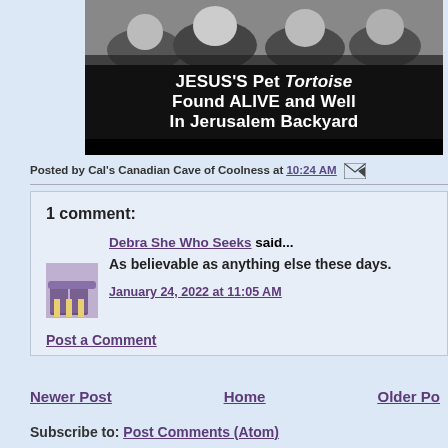[Figure (photo): Black and white image of sheep/animals with a tabloid-style headline: JESUS'S Pet Tortoise Found ALIVE and Well In Jerusalem Backyard]
Posted by Cal's Canadian Cave of Coolness at 10:24 AM
1 comment:
Debra She Who Seeks said...
As believable as anything else these days.
January 24, 2022 at 11:05 AM
Post a Comment
Newer Post   Home   Older Po
Subscribe to: Post Comments (Atom)